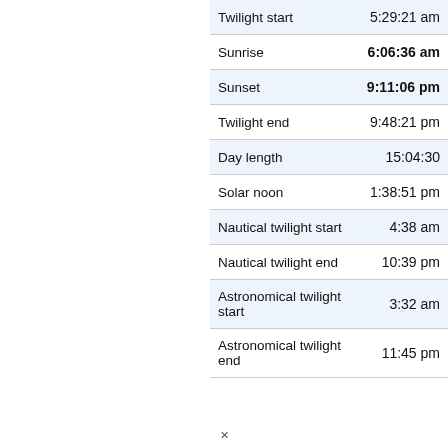| Label | Time |
| --- | --- |
| Twilight start | 5:29:21 am |
| Sunrise | 6:06:36 am |
| Sunset | 9:11:06 pm |
| Twilight end | 9:48:21 pm |
| Day length | 15:04:30 |
| Solar noon | 1:38:51 pm |
| Nautical twilight start | 4:38 am |
| Nautical twilight end | 10:39 pm |
| Astronomical twilight start | 3:32 am |
| Astronomical twilight end | 11:45 pm |